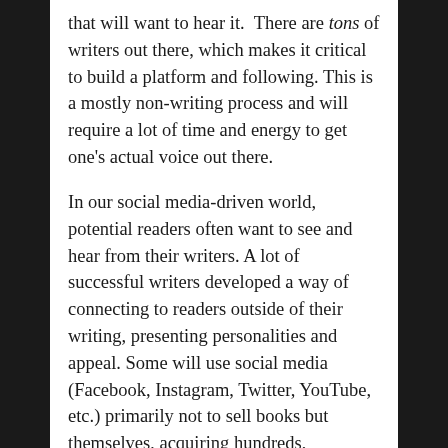that will want to hear it. There are tons of writers out there, which makes it critical to build a platform and following. This is a mostly non-writing process and will require a lot of time and energy to get one's actual voice out there.
In our social media-driven world, potential readers often want to see and hear from their writers. A lot of successful writers developed a way of connecting to readers outside of their writing, presenting personalities and appeal. Some will use social media (Facebook, Instagram, Twitter, YouTube, etc.) primarily not to sell books but themselves, acquiring hundreds, thousands and even millions of followers.
It's not so much about numbers as it is creating a stage for your work. You, stand center stage, speaking to people. Then you offer your creation(s) to